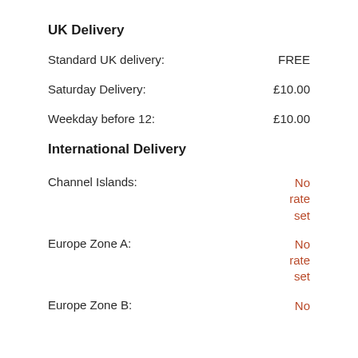UK Delivery
Standard UK delivery: FREE
Saturday Delivery: £10.00
Weekday before 12: £10.00
International Delivery
Channel Islands: No rate set
Europe Zone A: No rate set
Europe Zone B: No